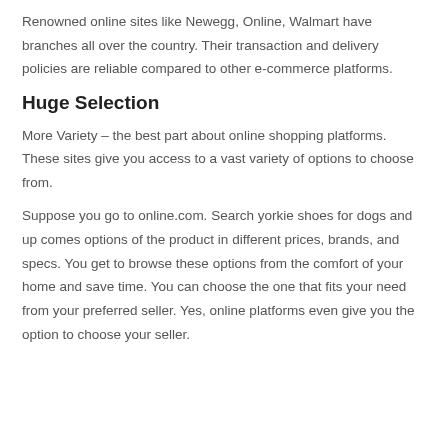Renowned online sites like Newegg, Online, Walmart have branches all over the country. Their transaction and delivery policies are reliable compared to other e-commerce platforms.
Huge Selection
More Variety – the best part about online shopping platforms. These sites give you access to a vast variety of options to choose from.
Suppose you go to online.com. Search yorkie shoes for dogs and up comes options of the product in different prices, brands, and specs. You get to browse these options from the comfort of your home and save time. You can choose the one that fits your need from your preferred seller. Yes, online platforms even give you the option to choose your seller.